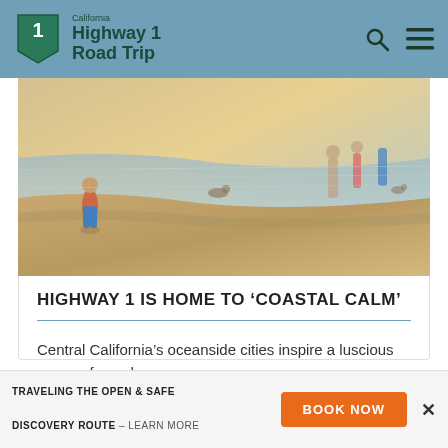California Highway 1 Road Trip
[Figure (photo): Beach scene with children and adults walking along the shoreline with wet sand and water reflections]
Highway 1 is Home to 'Coastal Calm'
Central California's oceanside cities inspire a luscious sense of peach.
READ MORE >
TRAVELING THE OPEN & SAFE DISCOVERY ROUTE — LEARN MORE    BOOK NOW    ✕